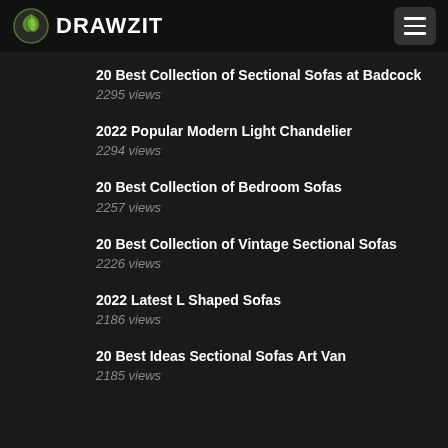DRAWZIT
20 Best Collection of Sectional Sofas at Badcock
2295 views
2022 Popular Modern Light Chandelier
2294 views
20 Best Collection of Bedroom Sofas
2257 views
20 Best Collection of Vintage Sectional Sofas
2226 views
2022 Latest L Shaped Sofas
2186 views
20 Best Ideas Sectional Sofas Art Van
2185 views